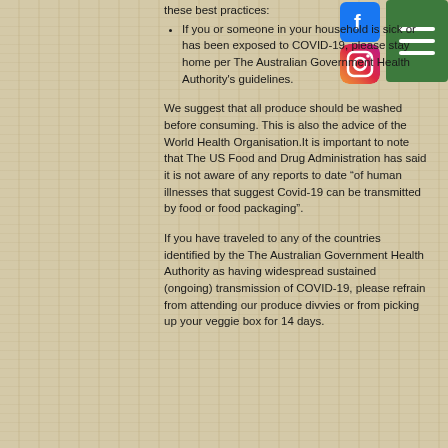these best practices:
If you or someone in your household is sick or has been exposed to COVID-19, please stay home per The Australian Government Health Authority's guidelines.
We suggest that all produce should be washed before consuming. This is also the advice of the World Health Organisation.It is important to note that The US Food and Drug Administration has said it is not aware of any reports to date “of human illnesses that suggest Covid-19 can be transmitted by food or food packaging”.
If you have traveled to any of the countries identified by the The Australian Government Health Authority as having widespread sustained (ongoing) transmission of COVID-19, please refrain from attending our produce divvies or from picking up your veggie box for 14 days.
[Figure (logo): Facebook logo icon - blue square with white f letter]
[Figure (logo): Instagram logo icon - gradient square with camera icon]
[Figure (other): Green hamburger menu icon with three white horizontal lines]